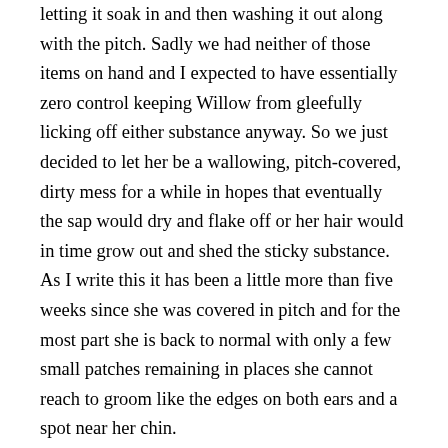letting it soak in and then washing it out along with the pitch. Sadly we had neither of those items on hand and I expected to have essentially zero control keeping Willow from gleefully licking off either substance anyway. So we just decided to let her be a wallowing, pitch-covered, dirty mess for a while in hopes that eventually the sap would dry and flake off or her hair would in time grow out and shed the sticky substance. As I write this it has been a little more than five weeks since she was covered in pitch and for the most part she is back to normal with only a few small patches remaining in places she cannot reach to groom like the edges on both ears and a spot near her chin.
During another bout of reading, writing and relaxing I took notice of these really large and weirdly shaped flies. Not horse fly size but still substantially larger than your common house fly. When I started paying attention to them